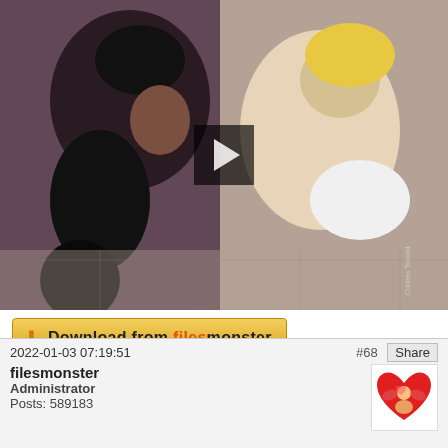[Figure (screenshot): 3D rendered animation thumbnail showing two figures, with a dark semi-transparent play button overlay in the center]
[Figure (illustration): Download from filesmonster button with yellow gradient background, download arrow icon, bold text 'Download from filesmonster']
DOWNLOAD FROM FILESMONSTER: Sensual Fuck With Cute Futanari Girls
0
2022-01-03 07:19:51
#68
Share
filesmonster
Administrator
Posts: 589183
[Figure (illustration): Small heart-shaped avatar with cartoon figure illustration]